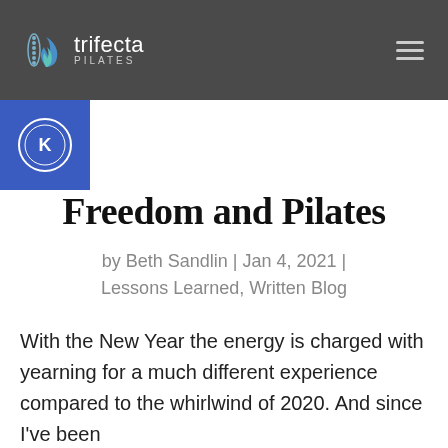[Figure (logo): Trifecta Pilates logo with flame/leaf icon on dark gray header bar with hamburger menu icon]
[Figure (logo): Blue square badge with white circular emblem]
Freedom and Pilates
by Beth Sandlin | Jan 4, 2021 | Lessons Learned, Written Blog
With the New Year the energy is charged with yearning for a much different experience compared to the whirlwind of 2020. And since I've been